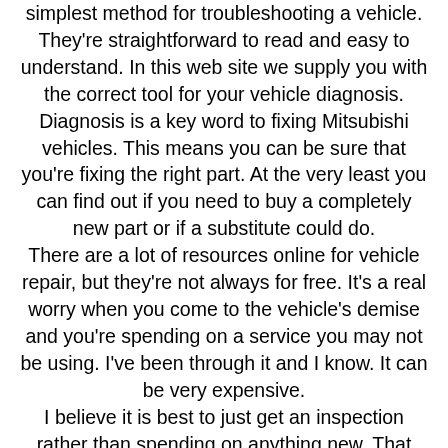simplest method for troubleshooting a vehicle. They're straightforward to read and easy to understand. In this web site we supply you with the correct tool for your vehicle diagnosis.
Diagnosis is a key word to fixing Mitsubishi vehicles. This means you can be sure that you're fixing the right part. At the very least you can find out if you need to buy a completely new part or if a substitute could do.
There are a lot of resources online for vehicle repair, but they're not always for free. It's a real worry when you come to the vehicle's demise and you're spending on a service you may not be using. I've been through it and I know. It can be very expensive.
I believe it is best to just get an inspection rather than spending on anything new. That said, if you really want to diagnose a car in-